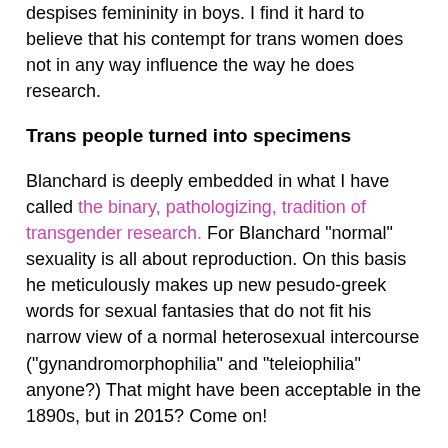despises femininity in boys. I find it hard to believe that his contempt for trans women does not in any way influence the way he does research.
Trans people turned into specimens
Blanchard is deeply embedded in what I have called the binary, pathologizing, tradition of transgender research. For Blanchard "normal" sexuality is all about reproduction. On this basis he meticulously makes up new pesudo-greek words for sexual fantasies that do not fit his narrow view of a normal heterosexual intercourse ("gynandromorphophilia" and "teleiophilia" anyone?) That might have been acceptable in the 1890s, but in 2015? Come on!
I sense no empathy, no real wish to help and understand here, only this obsessive desire to put people into boxes. To Blanchard, "autogynephiliacs" are exotic specimens in his collection of human perversions.
When Motherboard asked him:  "So, in your point of view, science rules. Scientific inquiry is the first priority, whatever it